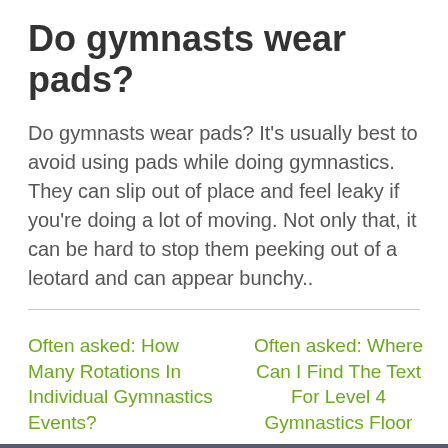Do gymnasts wear pads?
Do gymnasts wear pads? It's usually best to avoid using pads while doing gymnastics. They can slip out of place and feel leaky if you're doing a lot of moving. Not only that, it can be hard to stop them peeking out of a leotard and can appear bunchy..
Often asked: How Many Rotations In Individual Gymnastics Events?
Often asked: Where Can I Find The Text For Level 4 Gymnastics Floor
We store cookies: if you do not agree, you can close the site Agreemen